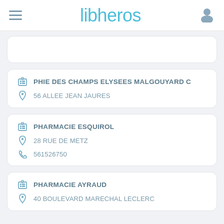libheros
PHIE DES CHAMPS ELYSEES MALGOUYARD C — 56 ALLEE JEAN JAURES
PHARMACIE ESQUIROL — 28 RUE DE METZ — 561526750
PHARMACIE AYRAUD — 40 BOULEVARD MARECHAL LECLERC